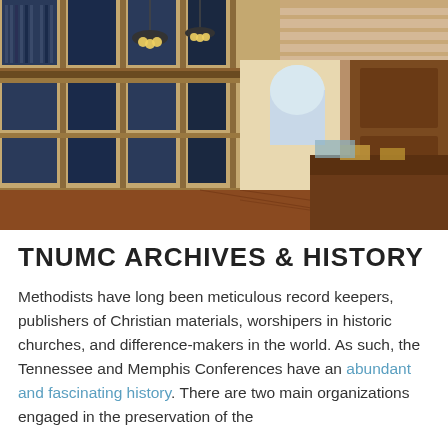[Figure (photo): Interior of a grand library reading room with tall wooden bookshelves lining the left wall filled with dark-bound volumes, a long wooden reading desk on the right, pendant lights hanging from the ceiling, and a large arched window at the far end letting in natural light.]
TNUMC ARCHIVES & HISTORY
Methodists have long been meticulous record keepers, publishers of Christian materials, worshipers in historic churches, and difference-makers in the world. As such, the Tennessee and Memphis Conferences have an abundant and fascinating history. There are two main organizations engaged in the preservation of the archives and history. The Commission...